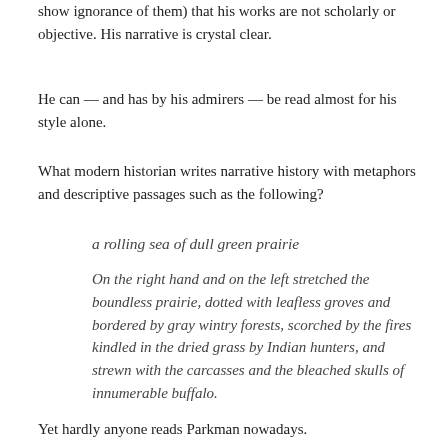show ignorance of them) that his works are not scholarly or objective. His narrative is crystal clear.
He can — and has by his admirers — be read almost for his style alone.
What modern historian writes narrative history with metaphors and descriptive passages such as the following?
a rolling sea of dull green prairie
On the right hand and on the left stretched the boundless prairie, dotted with leafless groves and bordered by gray wintry forests, scorched by the fires kindled in the dried grass by Indian hunters, and strewn with the carcasses and the bleached skulls of innumerable buffalo.
Yet hardly anyone reads Parkman nowadays.